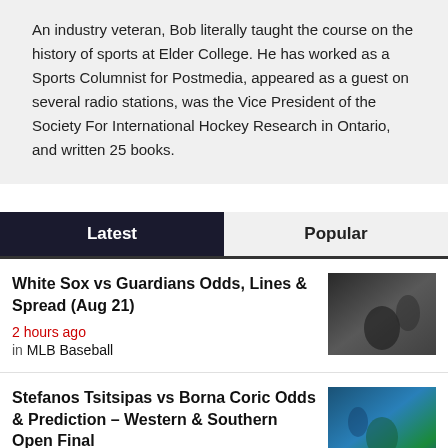An industry veteran, Bob literally taught the course on the history of sports at Elder College. He has worked as a Sports Columnist for Postmedia, appeared as a guest on several radio stations, was the Vice President of the Society For International Hockey Research in Ontario, and written 25 books.
Latest
Popular
White Sox vs Guardians Odds, Lines & Spread (Aug 21)
2 hours ago
in MLB Baseball
[Figure (photo): Baseball players on the field, catcher and batter in action]
Stefanos Tsitsipas vs Borna Coric Odds & Prediction – Western & Southern Open Final
3 hours ago
in Tennis
[Figure (photo): Tennis player in action during a match]